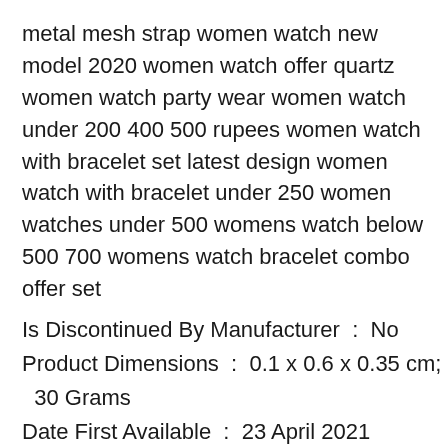metal mesh strap women watch new model 2020 women watch offer quartz women watch party wear women watch under 200 400 500 rupees women watch with bracelet set latest design women watch with bracelet under 250 women watches under 500 womens watch below 500 700 womens watch bracelet combo offer set
Is Discontinued By Manufacturer : No
Product Dimensions : 0.1 x 0.6 x 0.35 cm; 30 Grams
Date First Available : 23 April 2021
Manufacturer : Acnos
ASIN : B093C4XPNQ
Item model number : AC100/BS26-SILVER
Country of Origin : India
Department : Women
Manufacturer : Acnos, Acnos India –